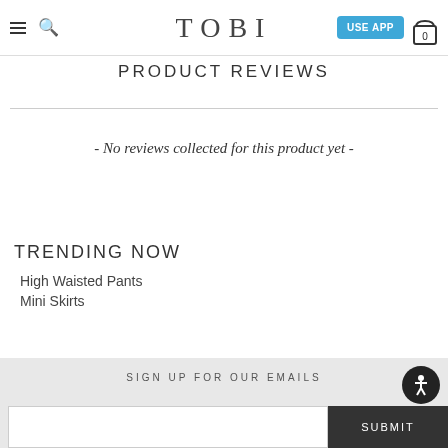TOBI | USE APP | 0
PRODUCT REVIEWS
- No reviews collected for this product yet -
TRENDING NOW
High Waisted Pants
Mini Skirts
SIGN UP FOR OUR EMAILS | SUBMIT